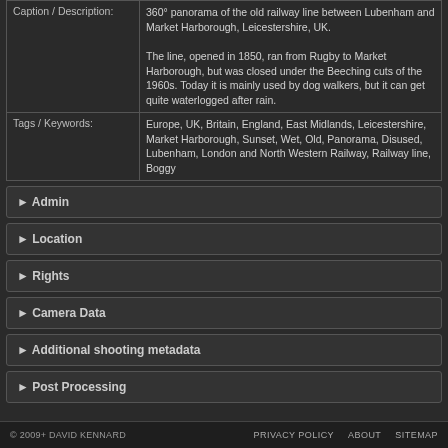| Caption / Description: | 360° panorama of the old railway line between Lubenham and Market Harborough, Leicestershire, UK.

The line, opened in 1850, ran from Rugby to Market Harborough, but was closed under the Beeching cuts of the 1960s. Today it is mainly used by dog walkers, but it can get quite waterlogged after rain. |
| Tags / Keywords: | Europe, UK, Britain, England, East Midlands, Leicestershire, Market Harborough, Sunset, Wet, Old, Panorama, Disused, Lubenham, London and North Western Railway, Railway line, Boggy |
► Admin
► Location
► Rights
► Camera Data
► Additional shooting metadata
► Post Processing
© 2009+ DAVID KENNARD    PRIVACY POLICY    ABOUT    SITEMAP